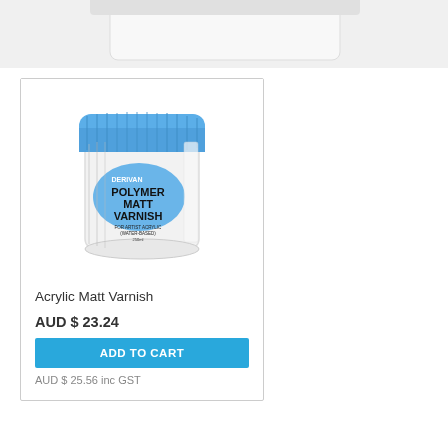[Figure (photo): Partial view of a product at the top of the page, cropped white container visible at top]
[Figure (photo): Derivan Polymer Matt Varnish jar with blue lid, white body with blue label reading POLYMER MATT VARNISH (Water-Based), 250ml]
Acrylic Matt Varnish
AUD $ 23.24
ADD TO CART
AUD $ 25.56 inc GST